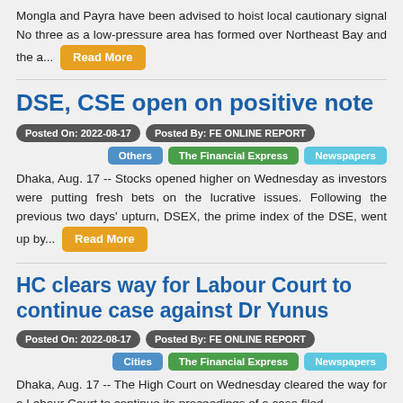Mongla and Payra have been advised to hoist local cautionary signal No three as a low-pressure area has formed over Northeast Bay and the a... Read More
DSE, CSE open on positive note
Posted On: 2022-08-17   Posted By: FE ONLINE REPORT
Others   The Financial Express   Newspapers
Dhaka, Aug. 17 -- Stocks opened higher on Wednesday as investors were putting fresh bets on the lucrative issues. Following the previous two days' upturn, DSEX, the prime index of the DSE, went up by... Read More
HC clears way for Labour Court to continue case against Dr Yunus
Posted On: 2022-08-17   Posted By: FE ONLINE REPORT
Cities   The Financial Express   Newspapers
Dhaka, Aug. 17 -- The High Court on Wednesday cleared the way for a Labour Court to continue its proceedings of a case filed